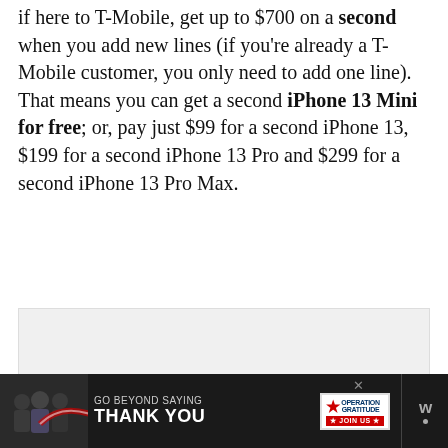if here to T-Mobile, get up to $700 on a second when you add new lines (if you're already a T-Mobile customer, you only need to add one line). That means you can get a second iPhone 13 Mini for free; or, pay just $99 for a second iPhone 13, $199 for a second iPhone 13 Pro and $299 for a second iPhone 13 Pro Max.
[Figure (other): Gray advertisement placeholder box]
[Figure (other): Dark advertisement banner: 'GO BEYOND SAYING THANK YOU' with Operation Gratitude logo and JOIN US button]